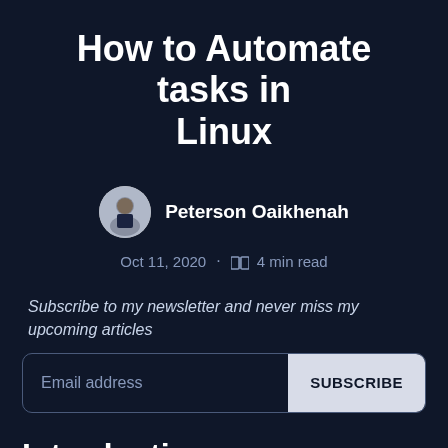How to Automate tasks in Linux
Peterson Oaikhenah
Oct 11, 2020 · 4 min read
Subscribe to my newsletter and never miss my upcoming articles
Introduction